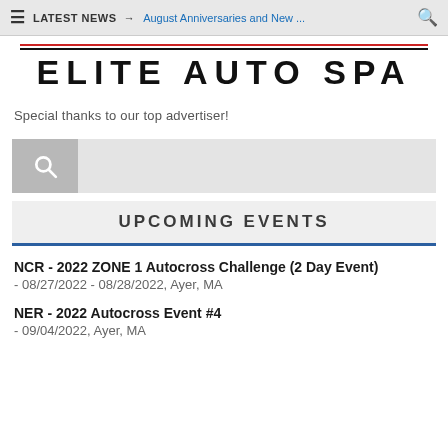≡  LATEST NEWS →  August Anniversaries and New ...  🔍
[Figure (logo): Elite Auto Spa logo with red and black horizontal lines above bold uppercase text 'ELITE AUTO SPA']
Special thanks to our top advertiser!
[Figure (other): Search bar with gray search icon box on left and light gray input field on right]
UPCOMING EVENTS
NCR - 2022 ZONE 1 Autocross Challenge (2 Day Event)
- 08/27/2022 - 08/28/2022, Ayer, MA
NER - 2022 Autocross Event #4
- 09/04/2022, Ayer, MA